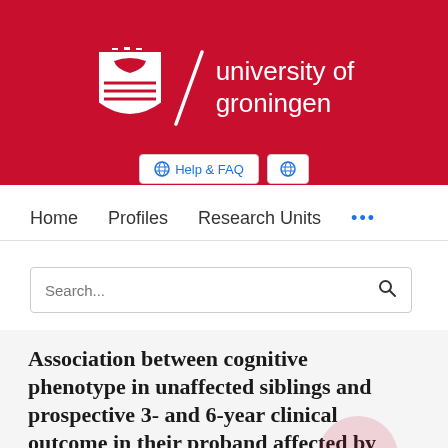[Figure (logo): University of Groningen logo with red banner, shield crest, slash separator, and white text reading 'university of groningen']
[Figure (screenshot): Navigation buttons: 'Help & FAQ' and a globe icon button]
Home   Profiles   Research Units   ...
Search...
Association between cognitive phenotype in unaffected siblings and prospective 3- and 6-year clinical outcome in their proband affected by psychosis